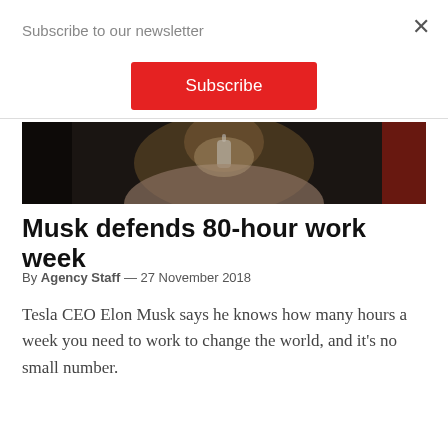Subscribe to our newsletter
Subscribe
[Figure (photo): Close-up photo of a person near a microphone, dark background with brown/grey tones, partially visible]
Musk defends 80-hour work week
By Agency Staff — 27 November 2018
Tesla CEO Elon Musk says he knows how many hours a week you need to work to change the world, and it's no small number.